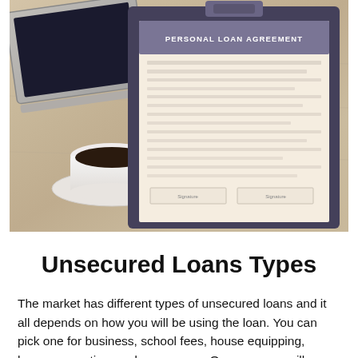[Figure (photo): A clipboard with a 'Personal Loan Agreement' document on a wooden table, alongside a laptop and a cup of black coffee on a saucer.]
Unsecured Loans Types
The market has different types of unsecured loans and it all depends on how you will be using the loan. You can pick one for business, school fees, house equipping, home renovation, and many more. Our company will